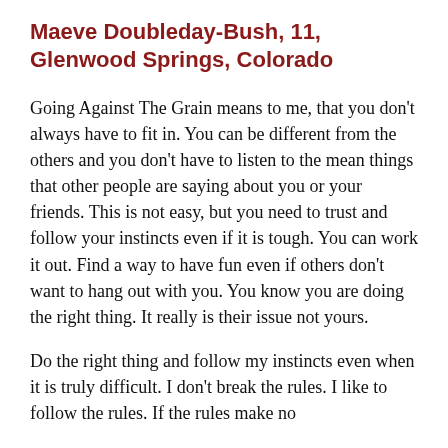Maeve Doubleday-Bush, 11, Glenwood Springs, Colorado
Going Against The Grain means to me, that you don't always have to fit in. You can be different from the others and you don't have to listen to the mean things that other people are saying about you or your friends. This is not easy, but you need to trust and follow your instincts even if it is tough. You can work it out. Find a way to have fun even if others don't want to hang out with you. You know you are doing the right thing. It really is their issue not yours.
Do the right thing and follow my instincts even when it is truly difficult. I don't break the rules. I like to follow the rules. If the rules make no